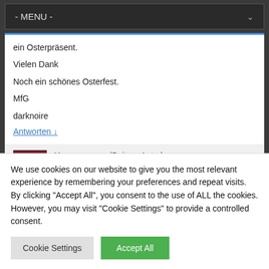- MENU -
ein Osterpräsent.

Vielen Dank

Noch ein schönes Osterfest.

MfG

darknoire
Antworten ↓
Kasseopaya (Beitrag Autor)
We use cookies on our website to give you the most relevant experience by remembering your preferences and repeat visits. By clicking "Accept All", you consent to the use of ALL the cookies. However, you may visit "Cookie Settings" to provide a controlled consent.
Cookie Settings   Accept All